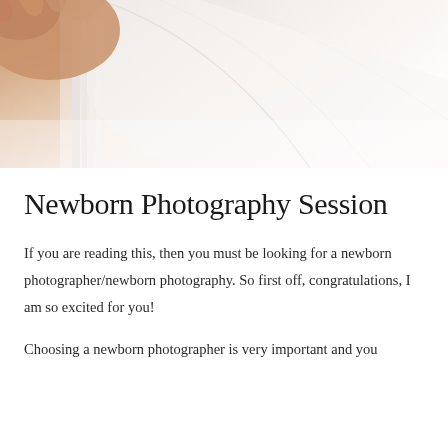[Figure (photo): Close-up photo of a newborn baby wrapped in soft white fabric/swaddling cloth, with skin-toned hands visible. The image is bright, soft, and warm-toned with cream and white textures.]
Newborn Photography Session
If you are reading this, then you must be looking for a newborn photographer/newborn photography. So first off, congratulations, I am so excited for you!
Choosing a newborn photographer is very important and you